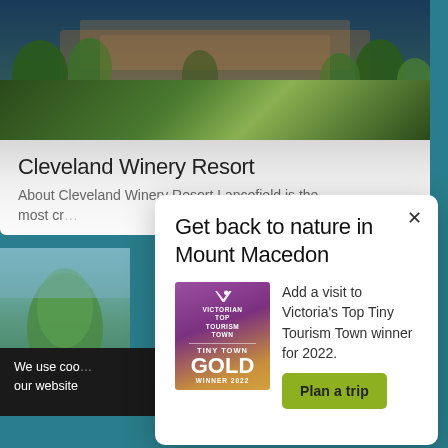[Figure (photo): Background teal/green webpage with resort photo at top showing trees and circular stone path element, and a smaller green nature thumbnail below left]
Cleveland Winery Resort
About Cleveland Winery Resort Lancefield is the most cr…
We use coo… our website
[Figure (infographic): Modal popup dialog: 'Get back to nature in Mount Macedon' with Victorian Top Tourism Town Tiny Town Gold Winner 2022 badge and Plan a trip button]
Get back to nature in Mount Macedon
[Figure (logo): Victorian Top Tourism Town — Tiny Town Gold Winner 2022 award badge with purple/gold gradient]
Add a visit to Victoria's Top Tiny Tourism Town winner for 2022.
Plan a trip